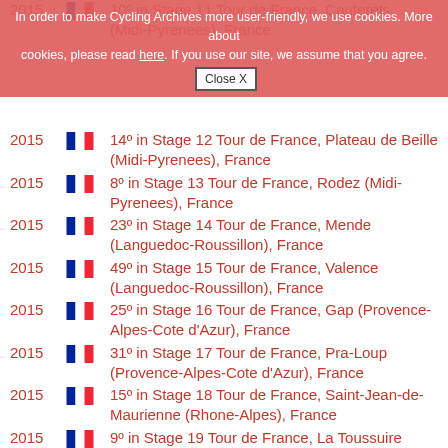Cookie banner: In order to make Cycling Archives more user-friendly, we use cookies. More about cookies, please read here. If you use our site, we assume that you agree. [Close X]
2015 — 10º in Stage 11 Tour de France, Cauterets (Midi-Pyrenees), France
2015 — 14º in Stage 12 Tour de France, Plateau de Beille (Midi-Pyrenees), France
2015 — 8º in Stage 13 Tour de France, Rodez (Midi-Pyrenees), France
2015 — 23º in Stage 14 Tour de France, Mende (Languedoc-Roussillon), France
2015 — 49º in Stage 15 Tour de France, Valence (Languedoc-Roussillon), France
2015 — 25º in Stage 16 Tour de France, Gap (Provence-Alpes-Cote d'Azur), France
2015 — 31º in Stage 17 Tour de France, Pra-Loup (Provence-Alpes-Cote d'Azur), France
2015 — 15º in Stage 18 Tour de France, Saint-Jean-de-Maurienne (Rhone-Alpes), France
2015 — 9º in Stage 19 Tour de France, La Toussuire (Rhone-Alpes), France
2015 — 16º in Stage 20 Tour de France, L'Alpe-d'Huez (Rhone-Alpes), France
2015 — 91º in Stage 21 Tour de France, Paris (Ile-de-France), France